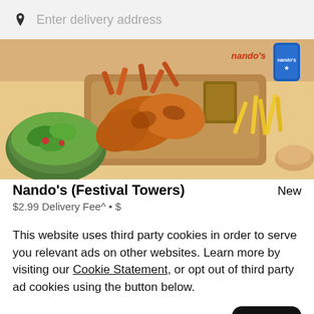Enter delivery address
[Figure (photo): Food photo showing grilled chicken wings on a wooden board, sweet potato fries, salad bowl, and a Nando's branded drink can with Nando's logo in top-right corner.]
Nando's (Festival Towers)
New
$2.99 Delivery Fee^ • $
This website uses third party cookies in order to serve you relevant ads on other websites. Learn more by visiting our Cookie Statement, or opt out of third party ad cookies using the button below.
Opt out
Got it